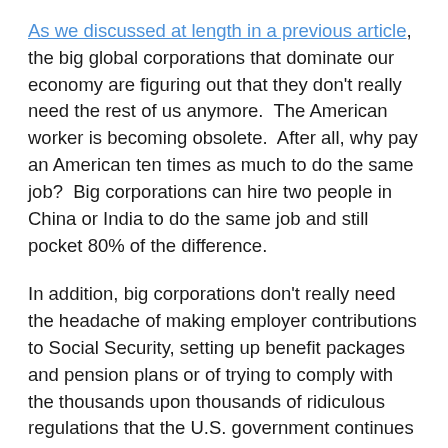As we discussed at length in a previous article, the big global corporations that dominate our economy are figuring out that they don't really need the rest of us anymore.  The American worker is becoming obsolete.  After all, why pay an American ten times as much to do the same job?  Big corporations can hire two people in China or India to do the same job and still pocket 80% of the difference.
In addition, big corporations don't really need the headache of making employer contributions to Social Security, setting up benefit packages and pension plans or of trying to comply with the thousands upon thousands of ridiculous regulations that the U.S. government continues to spew out.